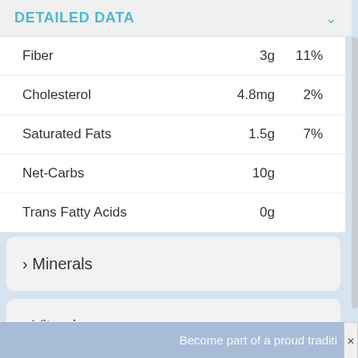DETAILED DATA
| Nutrient | Amount | % DV |
| --- | --- | --- |
| Fiber | 3g | 11% |
| Cholesterol | 4.8mg | 2% |
| Saturated Fats | 1.5g | 7% |
| Net-Carbs | 10g |  |
| Trans Fatty Acids | 0g |  |
> Minerals
> Vitamins
> Other
Become part of a proud traditi